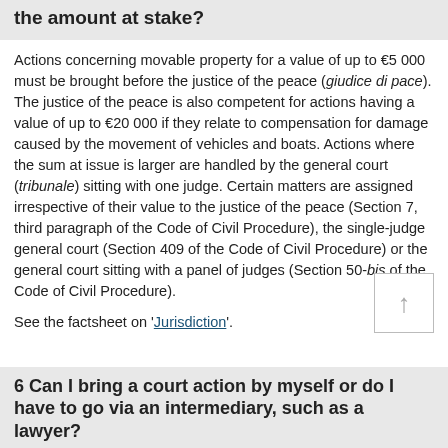the amount at stake?
Actions concerning movable property for a value of up to €5 000 must be brought before the justice of the peace (giudice di pace). The justice of the peace is also competent for actions having a value of up to €20 000 if they relate to compensation for damage caused by the movement of vehicles and boats. Actions where the sum at issue is larger are handled by the general court (tribunale) sitting with one judge. Certain matters are assigned irrespective of their value to the justice of the peace (Section 7, third paragraph of the Code of Civil Procedure), the single-judge general court (Section 409 of the Code of Civil Procedure) or the general court sitting with a panel of judges (Section 50-bis of the Code of Civil Procedure).
See the factsheet on 'Jurisdiction'.
6 Can I bring a court action by myself or do I have to go via an intermediary, such as a lawyer?